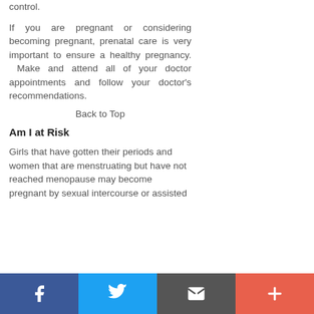control.
If you are pregnant or considering becoming pregnant, prenatal care is very important to ensure a healthy pregnancy. Make and attend all of your doctor appointments and follow your doctor's recommendations.
Back to Top
Am I at Risk
Girls that have gotten their periods and women that are menstruating but have not reached menopause may become pregnant by sexual intercourse or assisted